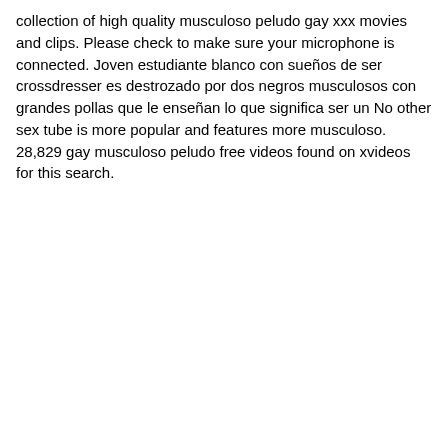collection of high quality musculoso peludo gay xxx movies and clips. Please check to make sure your microphone is connected. Joven estudiante blanco con sueños de ser crossdresser es destrozado por dos negros musculosos con grandes pollas que le enseñan lo que significa ser un No other sex tube is more popular and features more musculoso. 28,829 gay musculoso peludo free videos found on xvideos for this search.